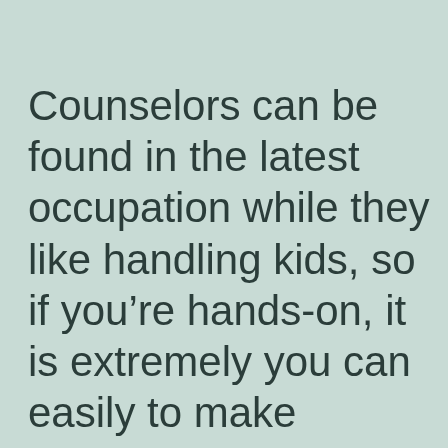Counselors can be found in the latest occupation while they like handling kids, so if you're hands-on, it is extremely you can easily to make rewarding contacts with your advice specialist